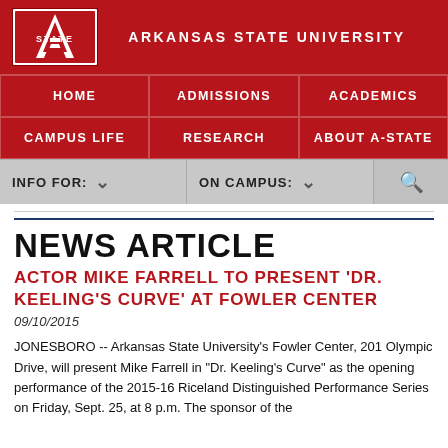ARKANSAS STATE UNIVERSITY
[Figure (logo): Arkansas State University 'A-STATE' logo in red and white]
HOME | ADMISSIONS | ACADEMICS | CAMPUS LIFE | RESEARCH | ABOUT A-STATE
INFO FOR: | ON CAMPUS: | [Search]
NEWS ARTICLE
ACTOR MIKE FARRELL TO PRESENT 'DR. KEELING'S CURVE' AT FOWLER CENTER
09/10/2015
JONESBORO -- Arkansas State University's Fowler Center, 201 Olympic Drive, will present Mike Farrell in "Dr. Keeling's Curve" as the opening performance of the 2015-16 Riceland Distinguished Performance Series on Friday, Sept. 25, at 8 p.m. The sponsor of the